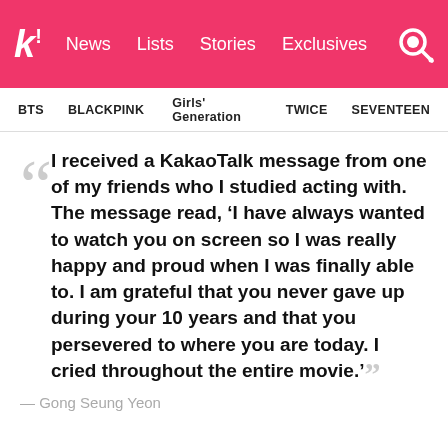k! News Lists Stories Exclusives
BTS   BLACKPINK   Girls' Generation   TWICE   SEVENTEEN
I received a KakaoTalk message from one of my friends who I studied acting with. The message read, ‘I have always wanted to watch you on screen so I was really happy and proud when I was finally able to. I am grateful that you never gave up during your 10 years and that you persevered to where you are today. I cried throughout the entire movie.’
— Gong Seung Yeon